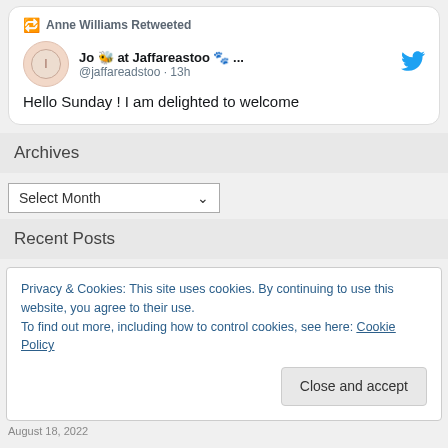[Figure (screenshot): Tweet card showing Anne Williams Retweeted, Jo 🐝 at Jaffareastoo 🐾 ... @jaffareadstoo · 13h, Hello Sunday ! I am delighted to welcome]
Archives
Select Month
Recent Posts
Privacy & Cookies: This site uses cookies. By continuing to use this website, you agree to their use.
To find out more, including how to control cookies, see here: Cookie Policy
Close and accept
August 18, 2022